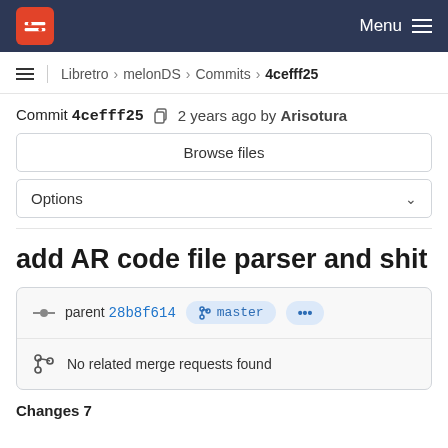Menu
Libretro > melonDS > Commits > 4cefff25
Commit 4cefff25  2 years ago by Arisotura
Browse files
Options
add AR code file parser and shit
parent 28b8f614  master  ...
No related merge requests found
Changes 7